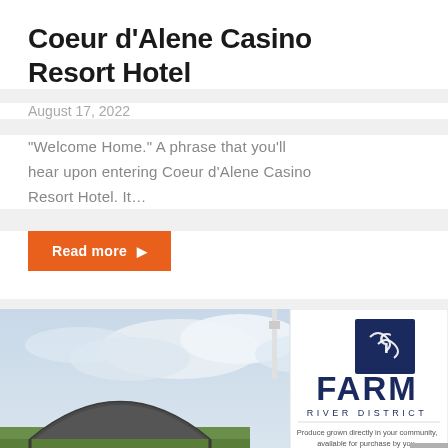Coeur d’Alene Casino Resort Hotel
August 17, 2022
“Welcome Home.” A phrase that you’ll hear upon entering Coeur d’Alene Casino Resort Hotel. It…
Read more ►
[Figure (photo): Outdoor scene with a greenhouse or hoop structure on the left under a cloudy sky, and a white sign on the right reading FARM RIVER DISTRICT with a dark blue logo square at the top. Text on sign: Produce grown directly in your community, available for purchase by you. MANA... (partially visible)]